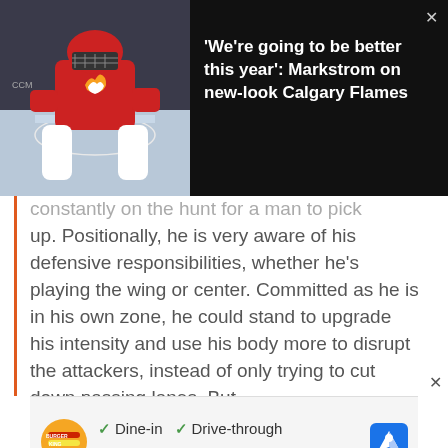[Figure (photo): Calgary Flames goalie in red uniform crouching in goal crease during NHL game, on dark overlay banner]
'We're going to be better this year': Markstrom on new-look Calgary Flames
constantly on the hunt for a man to pick up. Positionally, he is very aware of his defensive responsibilities, whether he's playing the wing or center. Committed as he is in his own zone, he could stand to upgrade his intensity and use his body more to disrupt the attackers, instead of only trying to cut down passing lanes. But
[Figure (logo): Burger King logo with advertisement showing Dine-in, Drive-through, Delivery options with checkmarks and Google Maps navigation icon]